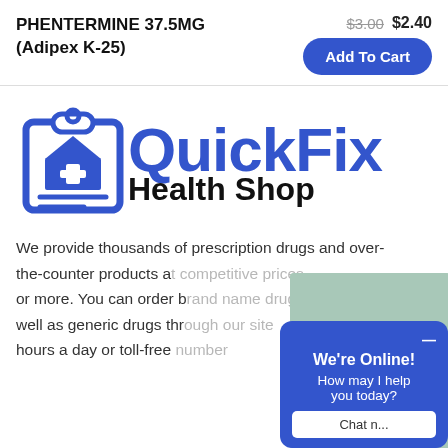PHENTERMINE 37.5MG (Adipex K-25)
$3.00  $2.40
Add To Cart
[Figure (logo): QuickFix Health Shop logo with clipboard/house icon in blue and stylized text]
We provide thousands of prescription drugs and over-the-counter products a[t competitive prices of $200] or more. You can order b[rand name medications as] well as generic drugs thr[ough our website 24] hours a day or toll-free [phone number].
[Figure (photo): Woman wearing a headset smiling, representing customer support agent]
We're Online! How may I help you today? Chat n...